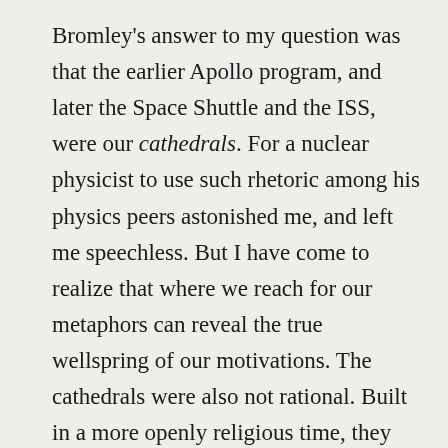Bromley's answer to my question was that the earlier Apollo program, and later the Space Shuttle and the ISS, were our cathedrals. For a nuclear physicist to use such rhetoric among his physics peers astonished me, and left me speechless. But I have come to realize that where we reach for our metaphors can reveal the true wellspring of our motivations. The cathedrals were also not rational. Built in a more openly religious time, they were physical manifestations of spiritual aspirations for transcendence. A vaulted space to promote wonder, awe, and a sense of majesty, built to foster a sense of God's immanent presence in the world and to guide our vision upward toward heaven. In the current age of mankind, the